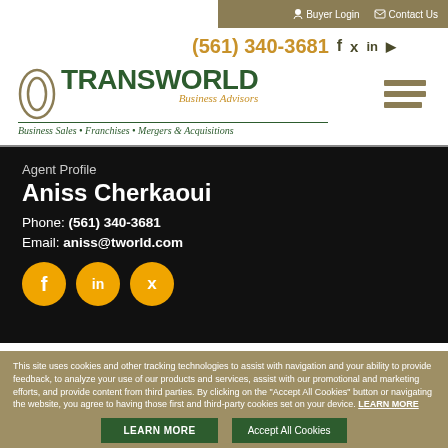Buyer Login  Contact Us
(561) 340-3681
[Figure (logo): Transworld Business Advisors logo with circles, green text, gold tagline 'Business Sales • Franchises • Mergers & Acquisitions']
Agent Profile
Aniss Cherkaoui
Phone: (561) 340-3681
Email: aniss@tworld.com
This site uses cookies and other tracking technologies to assist with navigation and your ability to provide feedback, to analyze your use of our products and services, assist with our promotional and marketing efforts, and provide content from third parties. By clicking on the "Accept All Cookies" button or navigating the website, you agree to having those first and third-party cookies set on your device. LEARN MORE